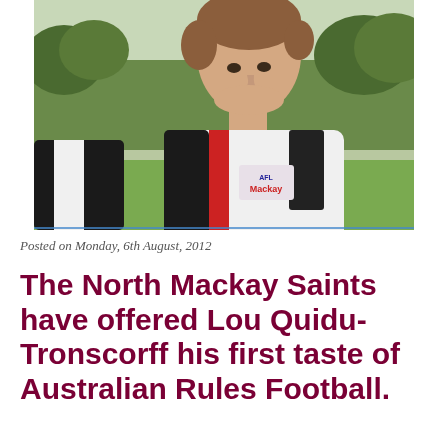[Figure (photo): A young male Australian Rules Football player wearing a white and black sleeveless jersey with red accents and a sponsor logo reading 'Mackay', photographed outdoors on a playing field with green grass and trees in the background.]
Posted on Monday, 6th August, 2012
The North Mackay Saints have offered Lou Quidu-Tronscorff his first taste of Australian Rules Football.